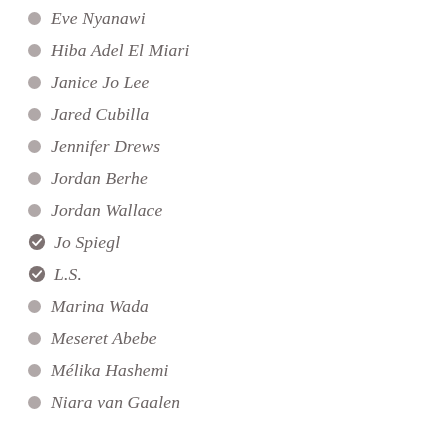Eve Nyanawi
Hiba Adel El Miari
Janice Jo Lee
Jared Cubilla
Jennifer Drews
Jordan Berhe
Jordan Wallace
Jo Spiegl
L.S.
Marina Wada
Meseret Abebe
Mélika Hashemi
Niara van Gaalen